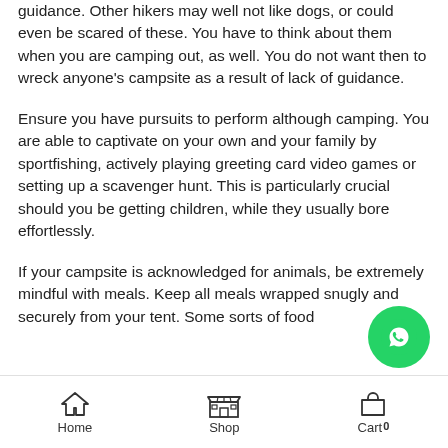guidance. Other hikers may well not like dogs, or could even be scared of these. You have to think about them when you are camping out, as well. You do not want then to wreck anyone's campsite as a result of lack of guidance.
Ensure you have pursuits to perform although camping. You are able to captivate on your own and your family by sportfishing, actively playing greeting card video games or setting up a scavenger hunt. This is particularly crucial should you be getting children, while they usually bore effortlessly.
If your campsite is acknowledged for animals, be extremely mindful with meals. Keep all meals wrapped snugly and securely from your tent. Some sorts of food
[Figure (other): WhatsApp floating action button (green circle with white WhatsApp phone icon)]
Home  Shop  Cart 0